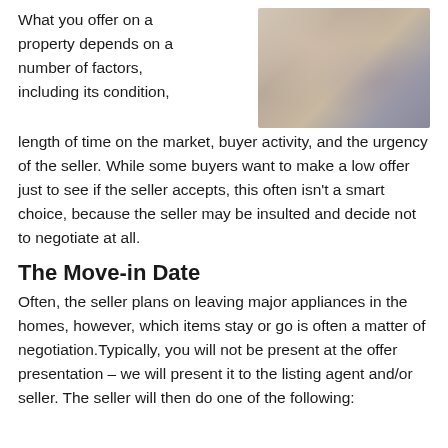What you offer on a property depends on a number of factors, including its condition, length of time on the market, buyer activity, and the urgency of the seller. While some buyers want to make a low offer just to see if the seller accepts, this often isn't a smart choice, because the seller may be insulted and decide not to negotiate at all.
[Figure (photo): Photo of two people (a woman and a man) reviewing a document together, likely a real estate agent and client.]
The Move-in Date
Often, the seller plans on leaving major appliances in the homes, however, which items stay or go is often a matter of negotiation.Typically, you will not be present at the offer presentation – we will present it to the listing agent and/or seller. The seller will then do one of the following: